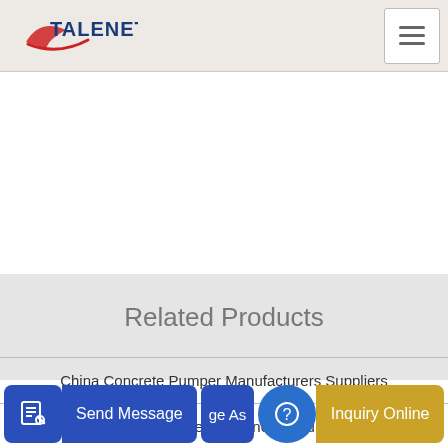TALENET
Related Products
China Concrete Pumper Manufacturers Suppliers
arm support device and concrete pump truck
ge As
Send Message
Inquiry Online